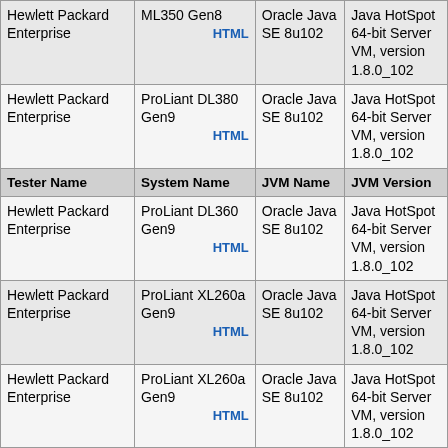| Tester Name | System Name | JVM Name | JVM Version |
| --- | --- | --- | --- |
| Hewlett Packard Enterprise | ML350 Gen8 HTML | Oracle Java SE 8u102 | Java HotSpot 64-bit Server VM, version 1.8.0_102 |
| Hewlett Packard Enterprise | ProLiant DL380 Gen9 HTML | Oracle Java SE 8u102 | Java HotSpot 64-bit Server VM, version 1.8.0_102 |
| Hewlett Packard Enterprise | ProLiant DL360 Gen9 HTML | Oracle Java SE 8u102 | Java HotSpot 64-bit Server VM, version 1.8.0_102 |
| Hewlett Packard Enterprise | ProLiant XL260a Gen9 HTML | Oracle Java SE 8u102 | Java HotSpot 64-bit Server VM, version 1.8.0_102 |
| Hewlett Packard Enterprise | ProLiant XL260a Gen9 HTML | Oracle Java SE 8u102 | Java HotSpot 64-bit Server VM, version 1.8.0_102 |
| Hewlett Packard Enterprise | ProLiant DL580 Gen9 HTML | Oracle Java SE 8u112 | Java HotSpot 64-bit Server VM, version 1.8.0_112 |
| Hewlett Packard Enterprise | Synergy 680 Gen9 HTML | Oracle Java SE 8u121 | Java HotSpot 64-bit Server VM, version 1.8.0_121 |
| Hewlett Packard Enterprise | Synergy 680 Gen9 HTML | Oracle Java SE 8u121 | Java HotSpot 64-bit Server VM, version 1.8.0_121 |